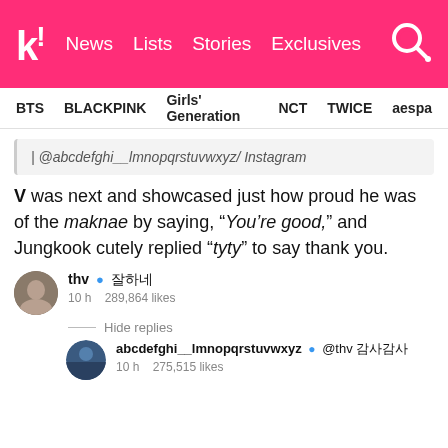Koreaboo | News | Lists | Stories | Exclusives
BTS | BLACKPINK | Girls' Generation | NCT | TWICE | aespa
| @abcdefghi__lmnopqrstuvwxyz/ Instagram
V was next and showcased just how proud he was of the maknae by saying, “You’re good,” and Jungkook cutely replied “tyty” to say thank you.
thv ✓ 잘하네 — 10 h  289,864 likes
Hide replies
abcdefghi__lmnopqrstuvwxyz ✓ @thv 감사감사 — 10 h  275,515 likes